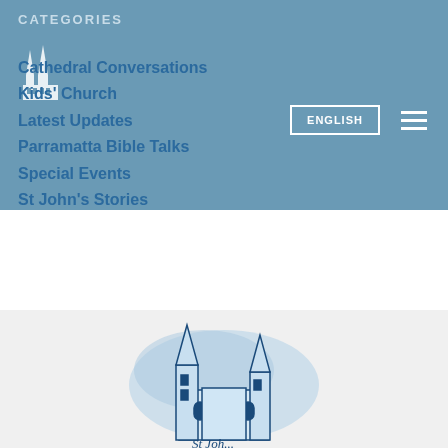CATEGORIES
Cathedral Conversations
Kids' Church
Latest Updates
Parramatta Bible Talks
Special Events
St John's Stories
Sunday Services
Uncategorized
[Figure (logo): St John's Cathedral church building illustration logo in blue tones]